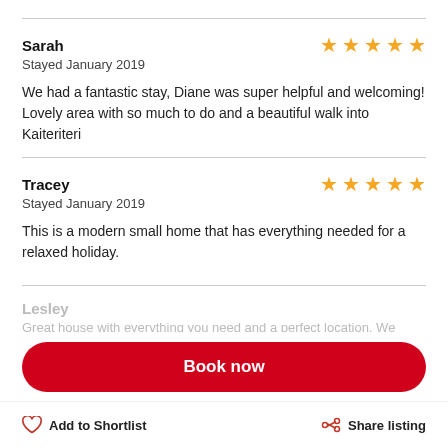Sarah — ★★★★★
Stayed January 2019
We had a fantastic stay, Diane was super helpful and welcoming! Lovely area with so much to do and a beautiful walk into Kaiteriteri
Tracey — ★★★★★
Stayed January 2019
This is a modern small home that has everything needed for a relaxed holiday.
Lesley
Book now
Add to Shortlist
Share listing
Great house with everything you need and a perfect location. We would certainly be happy to stay again. The property manage...